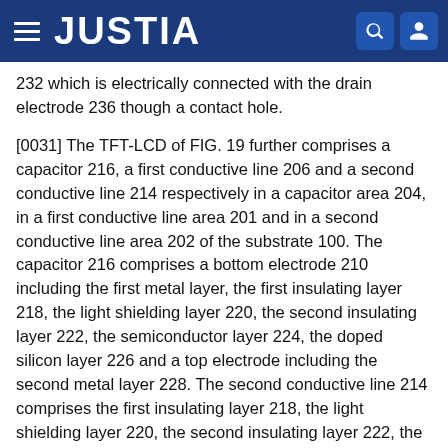JUSTIA
232 which is electrically connected with the drain electrode 236 though a contact hole.
[0031] The TFT-LCD of FIG. 19 further comprises a capacitor 216, a first conductive line 206 and a second conductive line 214 respectively in a capacitor area 204, in a first conductive line area 201 and in a second conductive line area 202 of the substrate 100. The capacitor 216 comprises a bottom electrode 210 including the first metal layer, the first insulating layer 218, the light shielding layer 220, the second insulating layer 222, the semiconductor layer 224, the doped silicon layer 226 and a top electrode including the second metal layer 228. The second conductive line 214 comprises the first insulating layer 218, the light shielding layer 220, the second insulating layer 222, the semiconductor layer 224, the doped silicon layer 226